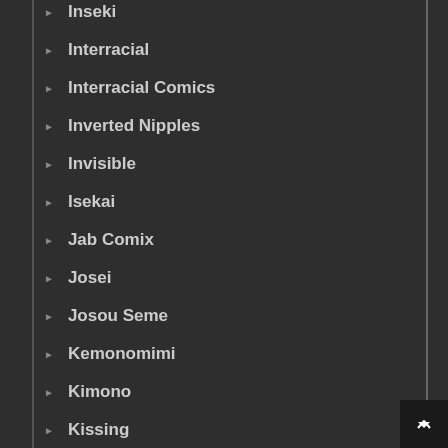Inseki
Interracial
Interracial Comics
Inverted Nipples
Invisible
Isekai
Jab Comix
Josei
Josou Seme
Kemonomimi
Kimono
Kissing
Kunoichi